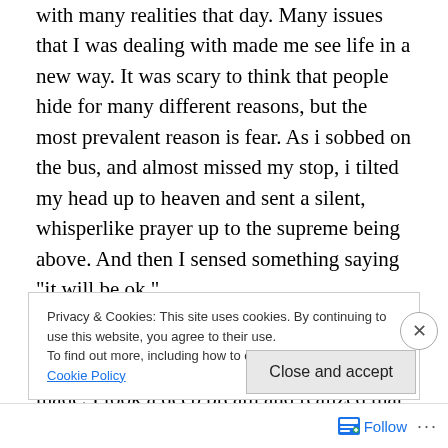with many realities that day. Many issues that I was dealing with made me see life in a new way. It was scary to think that people hide for many different reasons, but the most prevalent reason is fear. As i sobbed on the bus, and almost missed my stop, i tilted my head up to heaven and sent a silent, whisperlike prayer up to the supreme being above. And then I sensed something saying “it will be ok.”
I walked back to the sleeping quarters and got to sit and talk to the new friends i had made. I took a deep breath and realized that things would be ok. Life will go on…
Privacy & Cookies: This site uses cookies. By continuing to use this website, you agree to their use. To find out more, including how to control cookies, see here: Cookie Policy
Close and accept
Follow